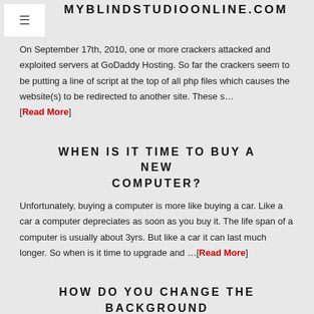MYBLINDSTUDIOONLINE.COM
On September 17th, 2010, one or more crackers attacked and exploited servers at GoDaddy Hosting. So far the crackers seem to be putting a line of script at the top of all php files which causes the website(s) to be redirected to another site. These s… [Read More]
WHEN IS IT TIME TO BUY A NEW COMPUTER?
Unfortunately, buying a computer is more like buying a car. Like a car a computer depreciates as soon as you buy it. The life span of a computer is usually about 3yrs. But like a car it can last much longer. So when is it time to upgrade and …[Read More]
HOW DO YOU CHANGE THE BACKGROUND